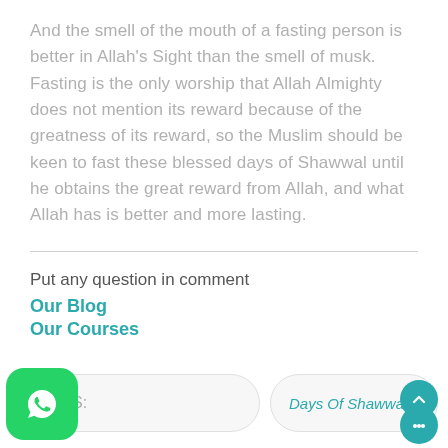And the smell of the mouth of a fasting person is better in Allah's Sight than the smell of musk. Fasting is the only worship that Allah Almighty does not mention its reward because of the greatness of its reward, so the Muslim should be keen to fast these blessed days of Shawwal until he obtains the great reward from Allah, and what Allah has is better and more lasting.
Put any question in comment
Our Blog
Our Courses
TAGS:
Days Of Shawwal